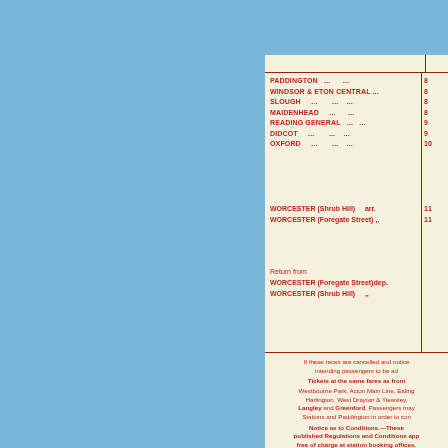| Station | Time |
| --- | --- |
| PADDINGTON  ...  ...  ... | 8 |
| WINDSOR & ETON CENTRAL ... | 8 |
| SLOUGH  ...  ...  ... | 8 |
| MAIDENHEAD  ...  ...  ... | 8 |
| READING GENERAL  ...  ... | 9 |
| DIDCOT  ...  ...  ... | 9 |
| OXFORD  ...  ...  ... | 10 |
| WORCESTER (Shrub Hill)  arr. | 11 |
| WORCESTER (Foregate Street)  " | 11 |
| Return | Time |
| --- | --- |
| Return from |  |
| WORCESTER (Foregate Street) dep. |  |
| WORCESTER (Shrub Hill)  " |  |
If these races are cancelled and notice intending passengers to be ad
Tickets at the same fares as from Westbourne Park, Acton Main Line, Ealing, Harlington, West Drayton & Yiewsley, Langley and Greenford. Passengers may Stations and Paddington in order to con
Notice as to Conditions.—These published Regulations and Conditions app free of charge at station booking offices.
Tickets can be obtained